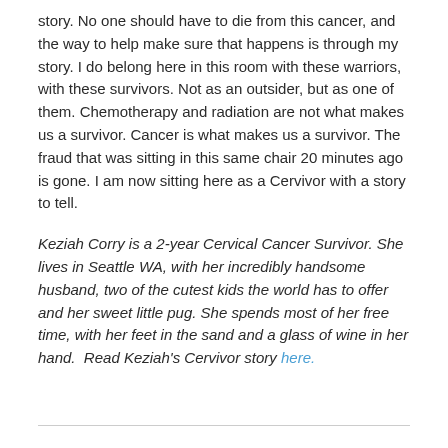story. No one should have to die from this cancer, and the way to help make sure that happens is through my story. I do belong here in this room with these warriors, with these survivors. Not as an outsider, but as one of them. Chemotherapy and radiation are not what makes us a survivor. Cancer is what makes us a survivor. The fraud that was sitting in this same chair 20 minutes ago is gone. I am now sitting here as a Cervivor with a story to tell.
Keziah Corry is a 2-year Cervical Cancer Survivor. She lives in Seattle WA, with her incredibly handsome husband, two of the cutest kids the world has to offer and her sweet little pug. She spends most of her free time, with her feet in the sand and a glass of wine in her hand. Read Keziah's Cervivor story here.